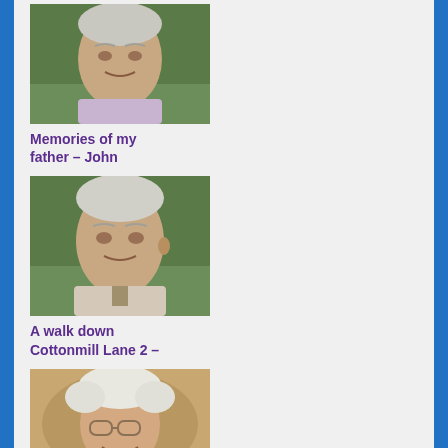[Figure (photo): Portrait photo of an elderly man with white/grey hair, wearing a light purple shirt, with green foliage in background]
Memories of my father – John
[Figure (photo): Portrait photo of same elderly man with white/grey hair, wearing a light shirt, with foliage in background]
A walk down Cottonmill Lane 2 –
[Figure (photo): Portrait photo of an elderly woman with white curly hair and glasses, smiling, wearing a dark jacket]